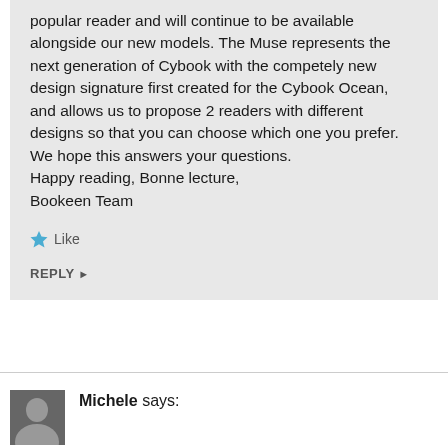popular reader and will continue to be available alongside our new models. The Muse represents the next generation of Cybook with the competely new design signature first created for the Cybook Ocean, and allows us to propose 2 readers with different designs so that you can choose which one you prefer.
We hope this answers your questions.
Happy reading, Bonne lecture,
Bookeen Team
Like
REPLY ▸
Michele says: